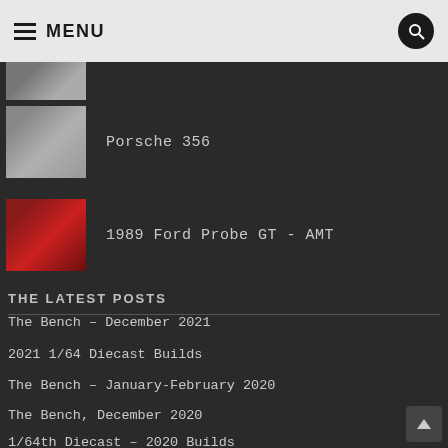MENU
[Figure (photo): Partial thumbnail of a model car at the top]
Porsche 356
1989 Ford Probe GT - AMT
THE LATEST POSTS
The Bench – December 2021
2021 1/64 Diecast Builds
The Bench – January-February 2020
The Bench, December 2020
1/64th Diecast – 2020 Builds